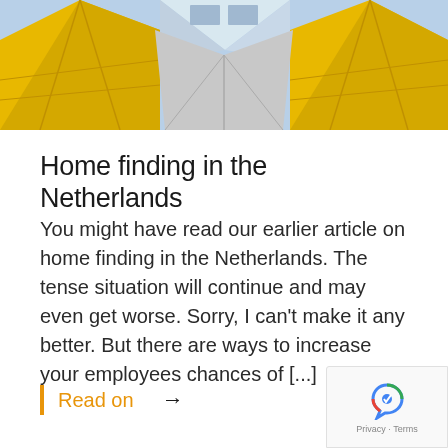[Figure (photo): Architectural photo of cube-shaped buildings with yellow and geometric facades, viewed from below looking upward.]
Home finding in the Netherlands
You might have read our earlier article on home finding in the Netherlands. The tense situation will continue and may even get worse. Sorry, I can’t make it any better. But there are ways to increase your employees chances of [...]
Read on →